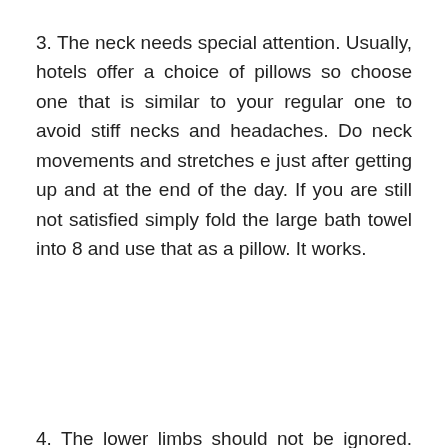3. The neck needs special attention. Usually, hotels offer a choice of pillows so choose one that is similar to your regular one to avoid stiff necks and headaches. Do neck movements and stretches e just after getting up and at the end of the day. If you are still not satisfied simply fold the large bath towel into 8 and use that as a pillow. It works.
4. The lower limbs should not be ignored. When sitting the muscles of the thighs and calves remain shortened for long periods. Circulation also slows which manifests as swelling of the feet at the end of the day. Good stretches along in the morning and help increase flexibility but also